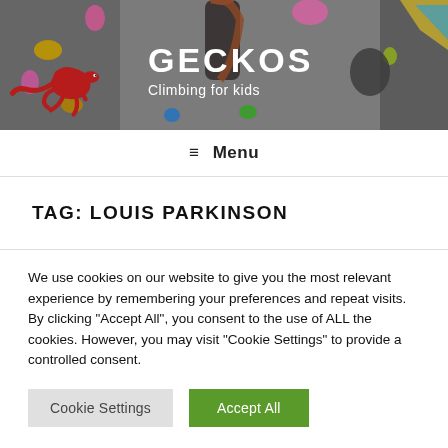[Figure (photo): Climbing wall banner with a child climbing, colorful holds visible, red gecko lizard logo on left side. White text overlay shows site title GECKOS and subtitle Climbing for kids.]
≡ Menu
TAG: LOUIS PARKINSON
We use cookies on our website to give you the most relevant experience by remembering your preferences and repeat visits. By clicking "Accept All", you consent to the use of ALL the cookies. However, you may visit "Cookie Settings" to provide a controlled consent.
Cookie Settings | Accept All